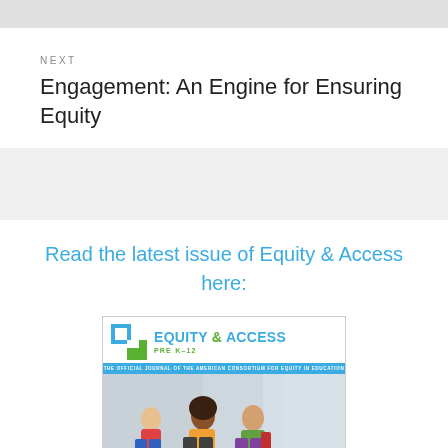NEXT
Engagement: An Engine for Ensuring Equity
Read the latest issue of Equity & Access here:
[Figure (photo): Cover of Equity & Access Pre K-12 magazine, the official journal of the American Consortium for Equity in Education, showing children running in a school hallway]